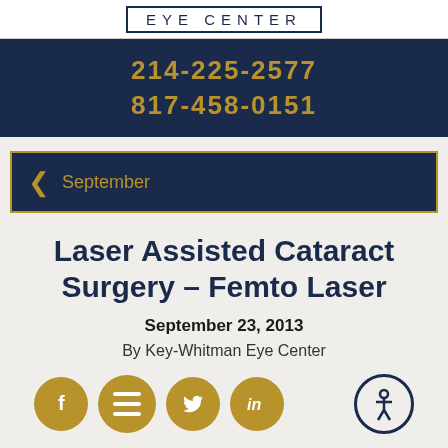EYE CENTER
214-225-2577
817-458-0151
< September
Laser Assisted Cataract Surgery – Femto Laser
September 23, 2013
By Key-Whitman Eye Center
[Figure (infographic): Social media sharing icons: Facebook (f), hamburger menu, Twitter bird, LinkedIn (in), and accessibility icon (person in circle)]